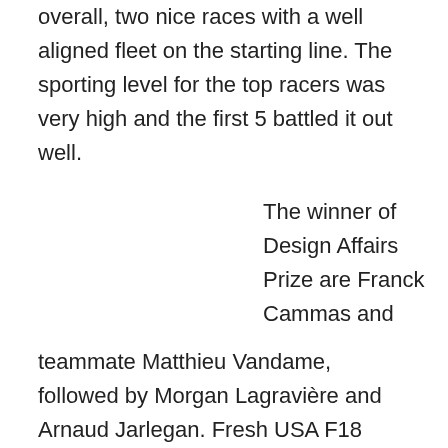overall, two nice races with a well aligned fleet on the starting line. The sporting level for the top racers was very high and the first 5 battled it out well.
The winner of Design Affairs Prize are Franck Cammas and
teammate Matthieu Vandame,   followed by Morgan Lagravière and Arnaud Jarlegan. Fresh USA F18 Champion Mike Easton together with F18 Youth World